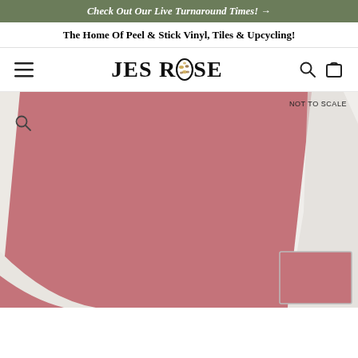Check Out Our Live Turnaround Times! →
The Home Of Peel & Stick Vinyl, Tiles & Upcycling!
[Figure (logo): JES ROSE logo in large serif font with decorative O letter containing a floral/animal print pattern, flanked by hamburger menu icon on left and search and cart icons on right.]
[Figure (photo): A rolled/curled vinyl sheet showing a pink daisy floral repeat pattern (white daisy flowers with yellow centers on a dusty rose/mauve background). The sheet is partially rolled up on the right side, showing the white backing. A smaller thumbnail preview of the same daisy pattern is shown in the lower right corner. 'NOT TO SCALE' label appears in the upper right. A zoom magnifying glass icon is in the upper left.]